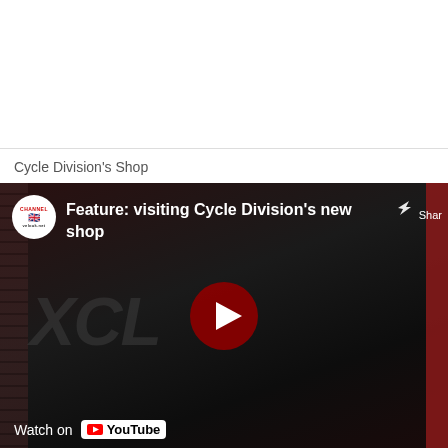Cycle Division's Shop
[Figure (screenshot): YouTube video embed thumbnail showing 'Feature: visiting Cycle Division's new shop' with a channel logo, play button, share button, and 'Watch on YouTube' footer over a dark shop facade image]